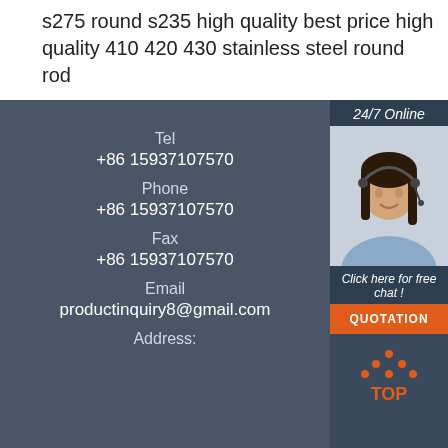s275 round s235 high quality best price high quality 410 420 430 stainless steel round rod
Tel
+86 15937107570
Phone
+86 15937107570
Fax
+86 15937107570
Email
productinquiry8@gmail.com
Address:
[Figure (photo): Customer service agent woman wearing headset, smiling, with '24/7 Online' badge and 'Click here for free chat!' text and orange QUOTATION button]
[Figure (logo): Orange TOP logo with triangle/mountain dots icon above the word TOP]